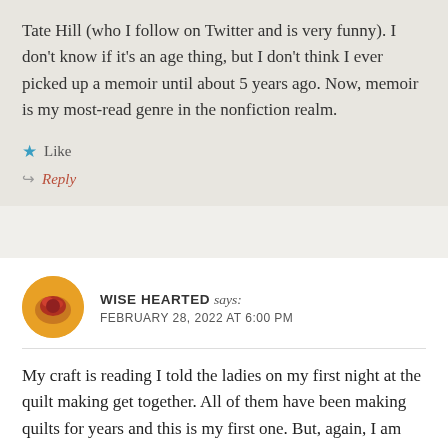Tate Hill (who I follow on Twitter and is very funny). I don't know if it's an age thing, but I don't think I ever picked up a memoir until about 5 years ago. Now, memoir is my most-read genre in the nonfiction realm.
Like
Reply
WISE HEARTED says: FEBRUARY 28, 2022 AT 6:00 PM
My craft is reading I told the ladies on my first night at the quilt making get together. All of them have been making quilts for years and this is my first one. But, again, I am not one to craft with my hand except to turn the pages of a good book. Great post.